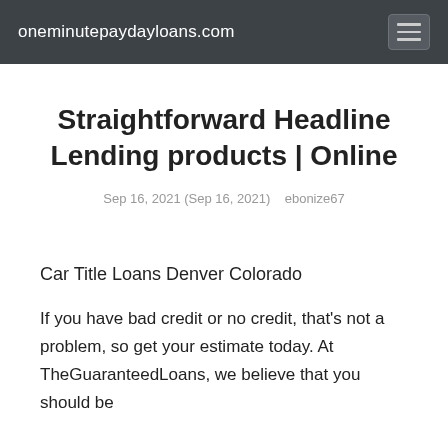oneminuitepaydayloans.com
Straightforward Headline Lending products | Online
Sep 16, 2021 (Sep 16, 2021)    ebonize67
Car Title Loans Denver Colorado
If you have bad credit or no credit, that's not a problem, so get your estimate today. At TheGuaranteedLoans, we believe that you should be